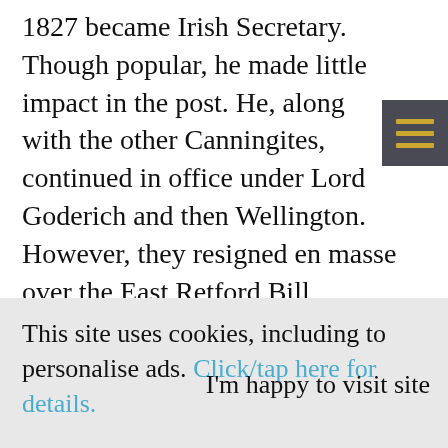1827 became Irish Secretary. Though popular, he made little impact in the post. He, along with the other Canningites, continued in office under Lord Goderich and then Wellington. However, they resigned en masse over the East Retford Bill (1828), believing the government was not willing to go far enough in tacking excessive electoral corruption. Although he personally had supported the Bill, he felt that
This site uses cookies, including to personalise ads. Click/tap here for details.
I'm happy to visit site